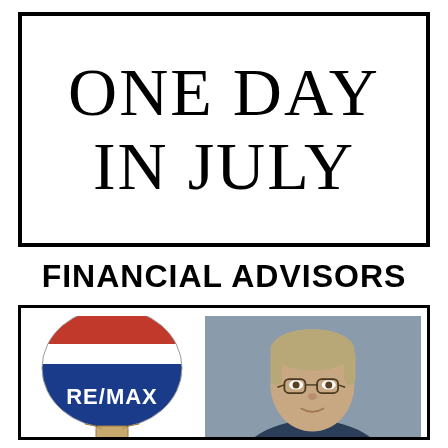ONE DAY IN JULY
FINANCIAL ADVISORS
[Figure (logo): RE/MAX hot air balloon logo in red, white, and blue with RE/MAX text]
[Figure (photo): Headshot of a middle-aged man with glasses and gray-blonde hair against a gray background]